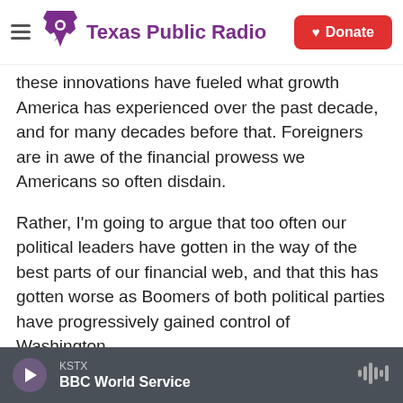Texas Public Radio | Donate
these innovations have fueled what growth America has experienced over the past decade, and for many decades before that. Foreigners are in awe of the financial prowess we Americans so often disdain.
Rather, I'm going to argue that too often our political leaders have gotten in the way of the best parts of our financial web, and that this has gotten worse as Boomers of both political parties have progressively gained control of Washington.
“Financialization,” as critics describe the outsize role Wall Street plays in the American economy
KSTX | BBC World Service